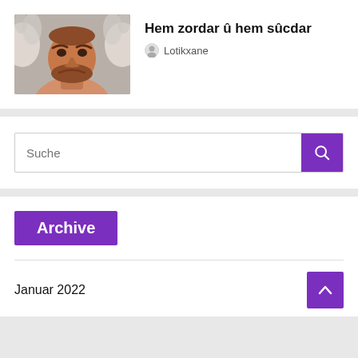[Figure (photo): Angry man with beard, smoke/energy coming from his head, shirtless, dramatic lighting]
Hem zordar û hem sûcdar
Lotikxane
Suche
Archive
Januar 2022